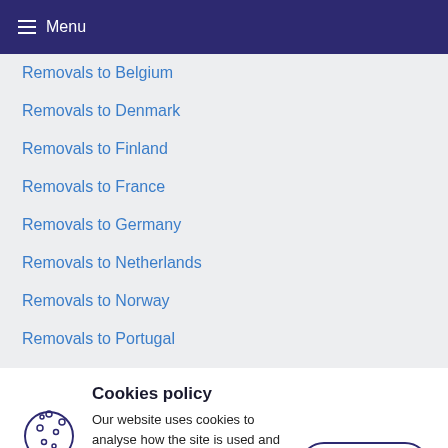Menu
Removals to Belgium
Removals to Denmark
Removals to Finland
Removals to France
Removals to Germany
Removals to Netherlands
Removals to Norway
Removals to Portugal
Cookies policy
Our website uses cookies to analyse how the site is used and to ensure your experience is consistent between visits.
Learn more »